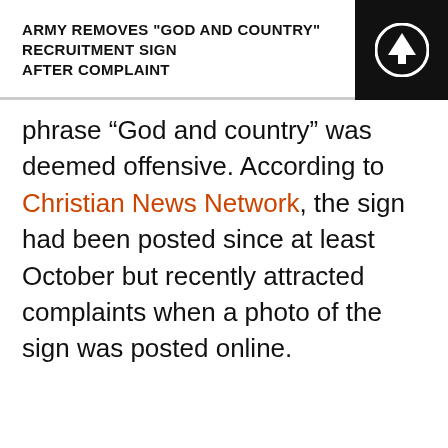ARMY REMOVES "GOD AND COUNTRY" RECRUITMENT SIGN AFTER COMPLAINT
phrase “God and country” was deemed offensive. According to Christian News Network, the sign had been posted since at least October but recently attracted complaints when a photo of the sign was posted online.